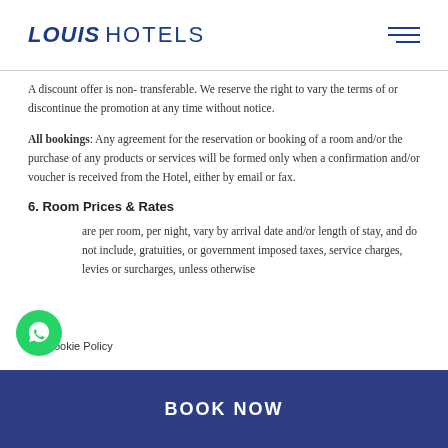LOUIS HOTELS
A discount offer is non- transferable. We reserve the right to vary the terms of or discontinue the promotion at any time without notice.
All bookings: Any agreement for the reservation or booking of a room and/or the purchase of any products or services will be formed only when a confirmation and/or voucher is received from the Hotel, either by email or fax.
6. Room Prices & Rates
are per room, per night, vary by arrival date and/or length of stay, and do not include, gratuities, or government imposed taxes, service charges, levies or surcharges, unless otherwise